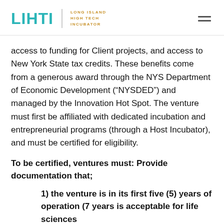LIHTI LONG ISLAND HIGH TECH INCUBATOR
access to funding for Client projects, and access to New York State tax credits. These benefits come from a generous award through the NYS Department of Economic Development (“NYSDED”) and managed by the Innovation Hot Spot. The venture must first be affiliated with dedicated incubation and entrepreneurial programs (through a Host Incubator), and must be certified for eligibility.
To be certified, ventures must: Provide documentation that;
1) the venture is in its first five (5) years of operation (7 years is acceptable for life sciences